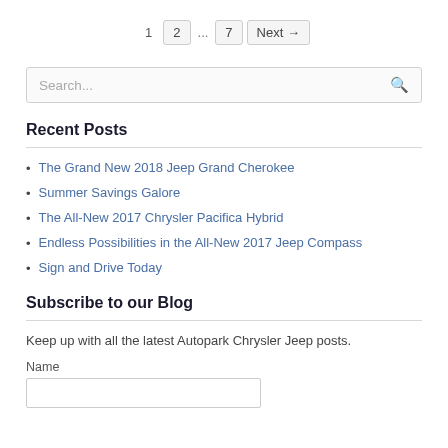1  2  ...  7  Next →
Search...
Recent Posts
The Grand New 2018 Jeep Grand Cherokee
Summer Savings Galore
The All-New 2017 Chrysler Pacifica Hybrid
Endless Possibilities in the All-New 2017 Jeep Compass
Sign and Drive Today
Subscribe to our Blog
Keep up with all the latest Autopark Chrysler Jeep posts.
Name